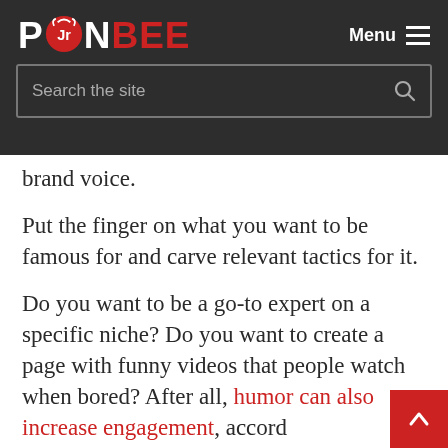PONBEE — Menu
brand voice.
Put the finger on what you want to be famous for and carve relevant tactics for it.
Do you want to be a go-to expert on a specific niche? Do you want to create a page with funny videos that people watch when bored? After all, humor can also increase engagement, accord to a recent report by the University of Southe